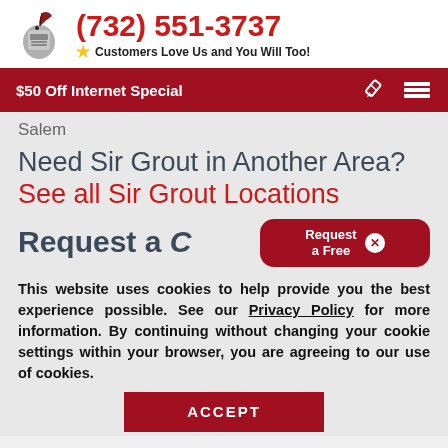(732) 551-3737 — Customers Love Us and You Will Too!
$50 Off Internet Special
Salem
Need Sir Grout in Another Area? See all Sir Grout Locations
Request a Free
This website uses cookies to help provide you the best experience possible. See our Privacy Policy for more information. By continuing without changing your cookie settings within your browser, you are agreeing to our use of cookies.
ACCEPT